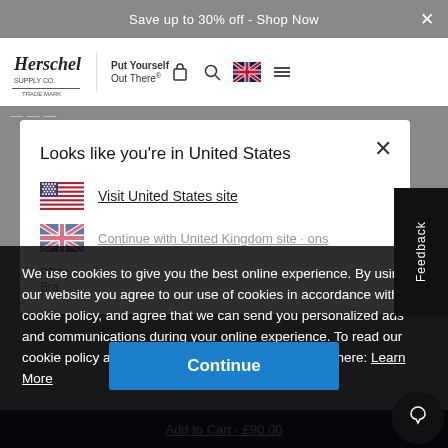Save up to 30% off - Shop Now
[Figure (logo): Herschel Supply Co. logo with tagline 'Put Yourself Out There']
Looks like you're in United States
Visit United States site
We use cookies to give you the best online experience. By using our website you agree to our use of cookies in accordance with our cookie policy, and agree that we can send you personalized ads and communications during your online experience. To read our cookie policy and learn how to disable cookies, click here: Learn More
Continue
Add to Cart - £90.00